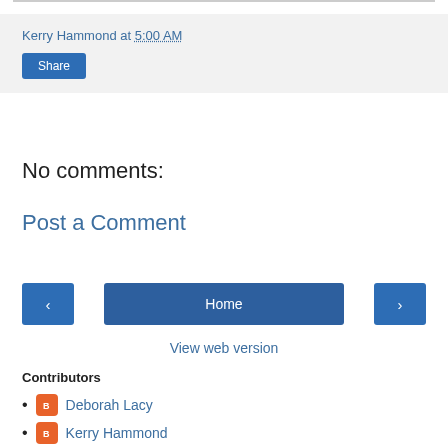Kerry Hammond at 5:00 AM
Share
No comments:
Post a Comment
Home
View web version
Contributors
Deborah Lacy
Kerry Hammond